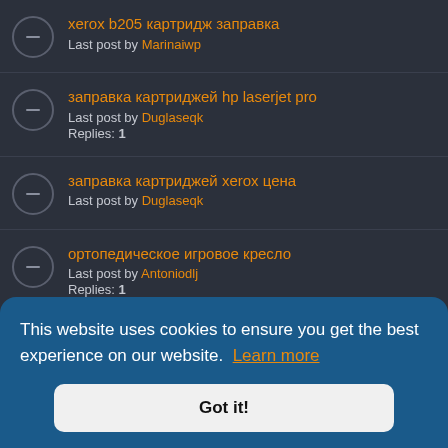xerox b205 картридж заправка
Last post by Marinaiwp
заправка картриджей hp laserjet pro
Last post by Duglaseqk
Replies: 1
заправка картриджей xerox цена
Last post by Duglaseqk
ортопедическое игровое кресло
Last post by Antoniodlj
Replies: 1
This website uses cookies to ensure you get the best experience on our website. Learn more
Got it!
Replies: 1